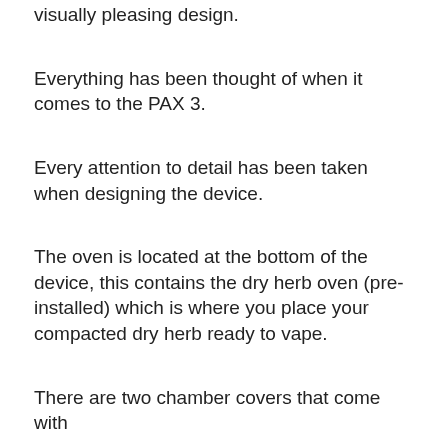visually pleasing design.
Everything has been thought of when it comes to the PAX 3.
Every attention to detail has been taken when designing the device.
The oven is located at the bottom of the device, this contains the dry herb oven (pre-installed) which is where you place your compacted dry herb ready to vape.
There are two chamber covers that come with